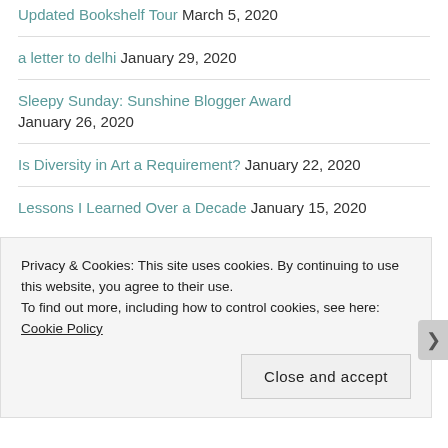Updated Bookshelf Tour March 5, 2020
a letter to delhi January 29, 2020
Sleepy Sunday: Sunshine Blogger Award January 26, 2020
Is Diversity in Art a Requirement? January 22, 2020
Lessons I Learned Over a Decade January 15, 2020
Privacy & Cookies: This site uses cookies. By continuing to use this website, you agree to their use.
To find out more, including how to control cookies, see here: Cookie Policy
Close and accept